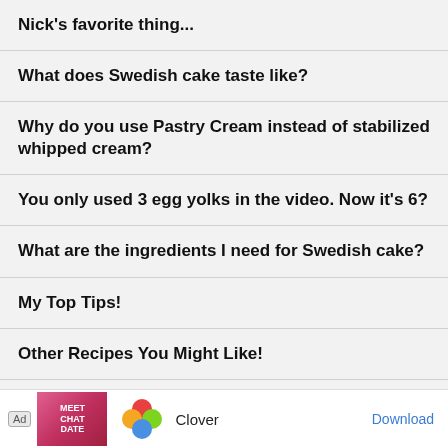Nick's favorite thing...
What does Swedish cake taste like?
Why do you use Pastry Cream instead of stabilized whipped cream?
You only used 3 egg yolks in the video. Now it's 6?
What are the ingredients I need for Swedish cake?
My Top Tips!
Other Recipes You Might Like!
Make sure to follow me on social media!
Sw...
[Figure (other): Advertisement banner: Ad label, image of woman with MEET CHAT DATE text, Clover app logo (colorful four-leaf clover), Clover text, Download button]